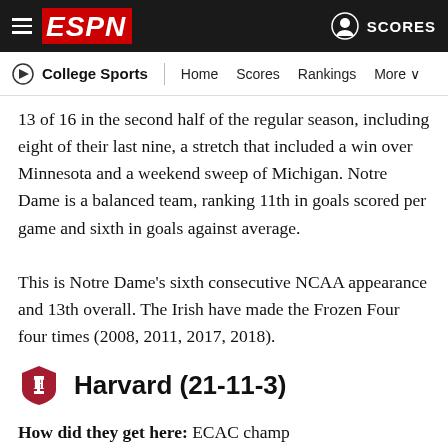ESPN | College Sports — Home | Scores | Rankings | More
13 of 16 in the second half of the regular season, including eight of their last nine, a stretch that included a win over Minnesota and a weekend sweep of Michigan. Notre Dame is a balanced team, ranking 11th in goals scored per game and sixth in goals against average.

This is Notre Dame's sixth consecutive NCAA appearance and 13th overall. The Irish have made the Frozen Four four times (2008, 2011, 2017, 2018).
Harvard (21-11-3)
How did they get here: ECAC champ
Seed: No. 4 in Albany
Harvard is a...